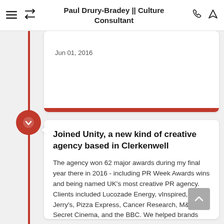Paul Drury-Bradey || Culture Consultant
Jun 01, 2016
Joined Unity, a new kind of creative agency based in Clerkenwell
The agency won 62 major awards during my final year there in 2016 - including PR Week Awards wins and being named UK's most creative PR agency. Clients included Lucozade Energy, vInspired, Ben & Jerry's, Pizza Express, Cancer Research, M&S, Secret Cinema, and the BBC. We helped brands deliver big creative campaigns around social change